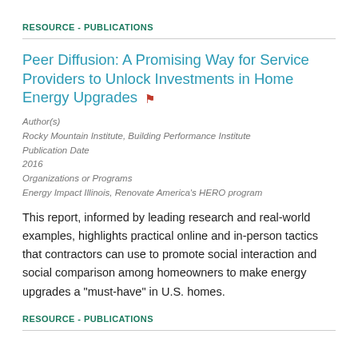RESOURCE - PUBLICATIONS
Peer Diffusion: A Promising Way for Service Providers to Unlock Investments in Home Energy Upgrades
Author(s)
Rocky Mountain Institute, Building Performance Institute
Publication Date
2016
Organizations or Programs
Energy Impact Illinois, Renovate America's HERO program
This report, informed by leading research and real-world examples, highlights practical online and in-person tactics that contractors can use to promote social interaction and social comparison among homeowners to make energy upgrades a "must-have" in U.S. homes.
RESOURCE - PUBLICATIONS